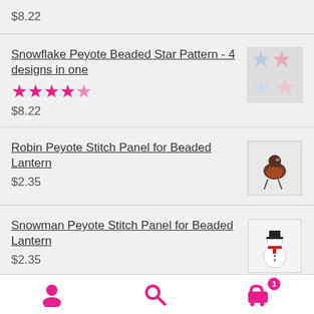$8.22
Snowflake Peyote Beaded Star Pattern - 4 designs in one
[Figure (other): 5 pink/magenta star rating icons]
$8.22
[Figure (photo): Thumbnail image of colorful beaded star ornaments]
Robin Peyote Stitch Panel for Beaded Lantern
$2.35
[Figure (photo): Thumbnail image of robin bird peyote stitch panel]
Snowman Peyote Stitch Panel for Beaded Lantern
$2.35
[Figure (photo): Thumbnail image of snowman peyote stitch panel]